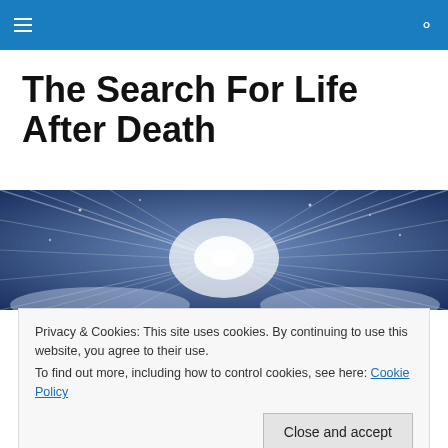Navigation bar with hamburger menu and search icon
The Search For Life After Death
[Figure (illustration): A bright light radiating outward from center against a blue sky/cloud background, suggesting a heavenly or afterlife scene with light rays fanning outward.]
Grief Counseling with a
Privacy & Cookies: This site uses cookies. By continuing to use this website, you agree to their use.
To find out more, including how to control cookies, see here: Cookie Policy
Grieving the loss of a friend or family member is an